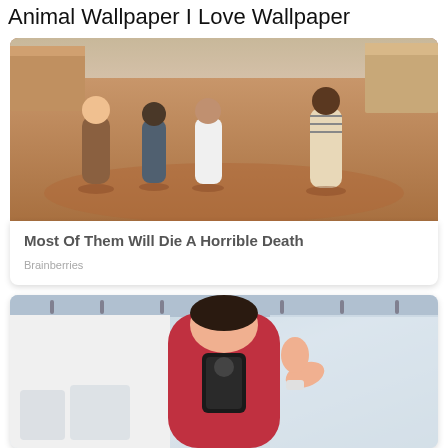Animal Wallpaper I Love Wallpaper
[Figure (photo): Four people standing on a dusty street in a western-style town setting]
Most Of Them Will Die A Horrible Death
Brainberries
[Figure (photo): Woman in red sports bra taking a mirror selfie at a gym, flexing her arm]